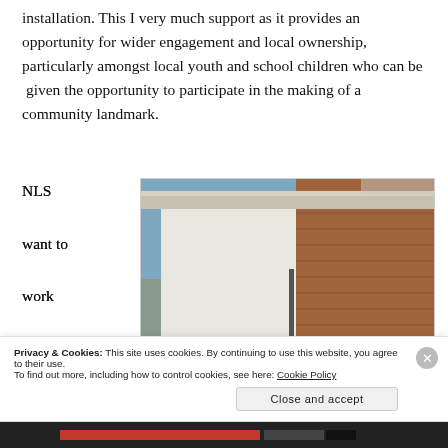installation. This I very much support as it provides an opportunity for wider engagement and local ownership, particularly amongst local youth and school children who can be given the opportunity to participate in the making of a community landmark.
NLS want to work with everyone
[Figure (photo): Exterior photo of a brick building corner showing a large white blank wall panel and cornice detail against a blue sky]
Privacy & Cookies: This site uses cookies. By continuing to use this website, you agree to their use. To find out more, including how to control cookies, see here: Cookie Policy
Close and accept